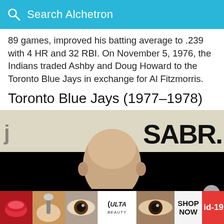Search Alchetron
89 games, improved his batting average to .239 with 4 HR and 32 RBI. On November 5, 1976, the Indians traded Ashby and Doug Howard to the Toronto Blue Jays in exchange for Al Fitzmorris.
Toronto Blue Jays (1977–1978)
[Figure (photo): Photo of a man at a SABR event, banner visible in background, dark lower half of image]
[Figure (infographic): Advertisement strip showing makeup/beauty images and Ulta Beauty ad with SHOP NOW and id-19 tag]